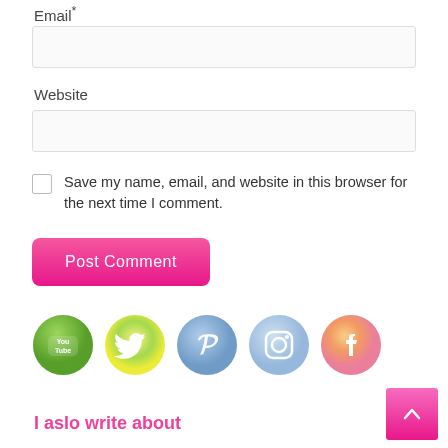Email*
Website
Save my name, email, and website in this browser for the next time I comment.
Post Comment
[Figure (illustration): Row of five social media icons: YouTube (green watercolor circle), Twitter (yellow-green watercolor circle), Pinterest (blue watercolor circle), Instagram (blue watercolor circle), Facebook (orange-pink watercolor circle)]
I aslo write about